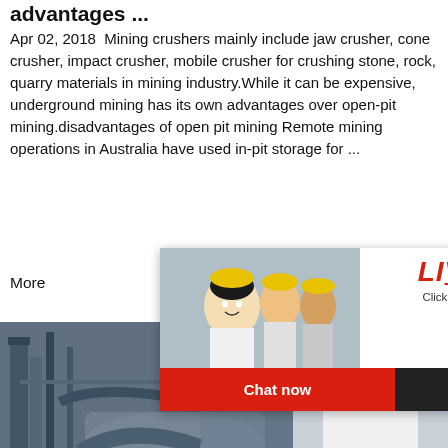advantages ...
Apr 02, 2018  Mining crushers mainly include jaw crusher, cone crusher, impact crusher, mobile crusher for crushing stone, rock, quarry materials in mining industry.While it can be expensive, underground mining has its own advantages over open-pit mining.disadvantages of open pit mining Remote mining operations in Australia have used in-pit storage for ...
More
[Figure (screenshot): Live Chat popup overlay with workers in yellow hard hats, title LIVE CHAT in red italic, subtitle Click for a Free Consultation, Chat now (red button) and Chat later (dark button)]
[Figure (photo): Mining/industrial machinery photo showing large equipment in a factory or plant setting]
[Figure (screenshot): Right side chat widget showing 24 Hrs Online bar in red, support agent photo wearing headset, Need questions & suggestion? text box, Chat Now red button]
advantages and disadvantages of in pit crushing technology
advantages and disadvantages of in pit crushing technology. disadvantages of opening pit glacier ice excavation: brief review: journ...